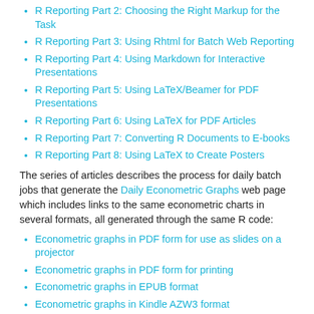R Reporting Part 2: Choosing the Right Markup for the Task
R Reporting Part 3: Using Rhtml for Batch Web Reporting
R Reporting Part 4: Using Markdown for Interactive Presentations
R Reporting Part 5: Using LaTeX/Beamer for PDF Presentations
R Reporting Part 6: Using LaTeX for PDF Articles
R Reporting Part 7: Converting R Documents to E-books
R Reporting Part 8: Using LaTeX to Create Posters
The series of articles describes the process for daily batch jobs that generate the Daily Econometric Graphs web page which includes links to the same econometric charts in several formats, all generated through the same R code:
Econometric graphs in PDF form for use as slides on a projector
Econometric graphs in PDF form for printing
Econometric graphs in EPUB format
Econometric graphs in Kindle AZW3 format
Econometric graphs in A0 poster format